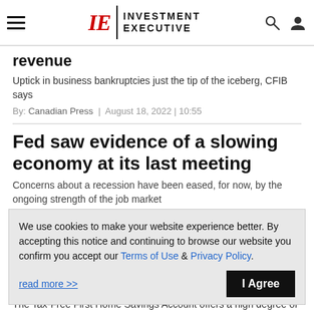Investment Executive
...gg...g revenue
Uptick in business bankruptcies just the tip of the iceberg, CFIB says
By: Canadian Press | August 18, 2022 | 10:55
Fed saw evidence of a slowing economy at its last meeting
Concerns about a recession have been eased, for now, by the ongoing strength of the job market
We use cookies to make your website experience better. By accepting this notice and continuing to browse our website you confirm you accept our Terms of Use & Privacy Policy. read more >>
The Tax-Free First Home Savings Account offers a high degree of